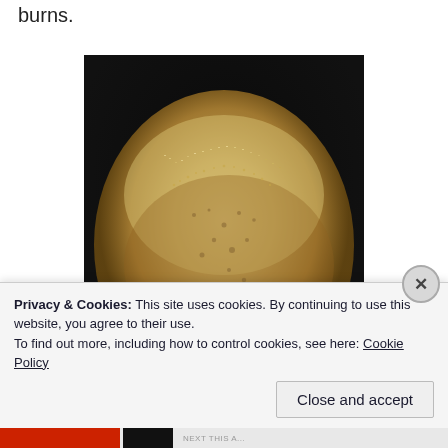burns.
[Figure (photo): Close-up photo of a pile of small pale golden/tan grains or seeds (possibly sesame seeds or similar) mounded in a dark bowl or pan, viewed from above.]
Privacy & Cookies: This site uses cookies. By continuing to use this website, you agree to their use.
To find out more, including how to control cookies, see here: Cookie Policy
Close and accept